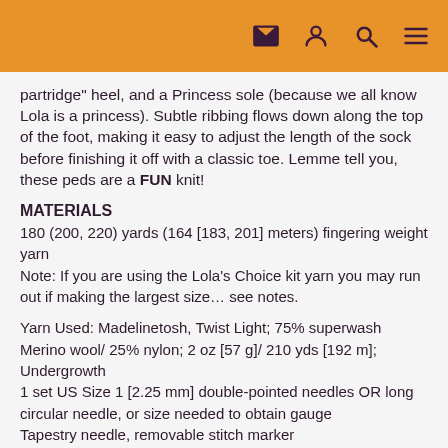[icons: mail, user, search, menu]
partridge" heel, and a Princess sole (because we all know Lola is a princess). Subtle ribbing flows down along the top of the foot, making it easy to adjust the length of the sock before finishing it off with a classic toe. Lemme tell you, these peds are a FUN knit!
MATERIALS
180 (200, 220) yards (164 [183, 201] meters) fingering weight yarn
Note: If you are using the Lola’s Choice kit yarn you may run out if making the largest size… see notes.
Yarn Used: Madelinetosh, Twist Light; 75% superwash Merino wool/ 25% nylon; 2 oz [57 g]/ 210 yds [192 m]; Undergrowth
1 set US Size 1 [2.25 mm] double-pointed needles OR long circular needle, or size needed to obtain gauge
Tapestry needle, removable stitch marker
Optional
108 Size 6/0 glass seed beads, 36 col A, 36 col B, 36 col C
[Approx. 4 g each]